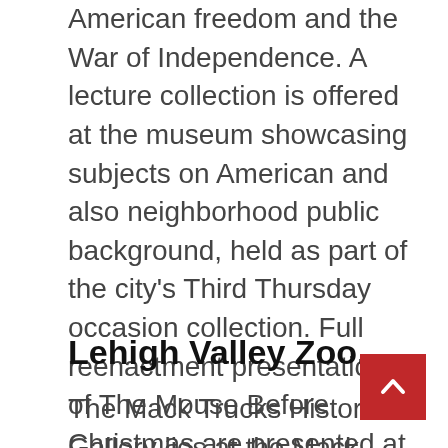American freedom and the War of Independence. A lecture collection is offered at the museum showcasing subjects on American and also neighborhood public background, held as part of the city's Third Thursday occasion collection. Full reenactment presentations of The Mouse Before Christmas are presented at the gallery throughout the holiday, as well as a Pip's Pals Club provides family unique events as well as discount rates on museum gift store product. The church itself functions as a living background gallery exhibit, provided on the National Register of Historic Places for its role in American public background.
Lehigh Valley Zoo.
The Mack Trucks Historic Gallery lies at the Mack customer facility and includes a selection of antique trucks that have actually been restored for the pub appreciate and to protect history. They additionally have a number of vintage models as well as a collection of